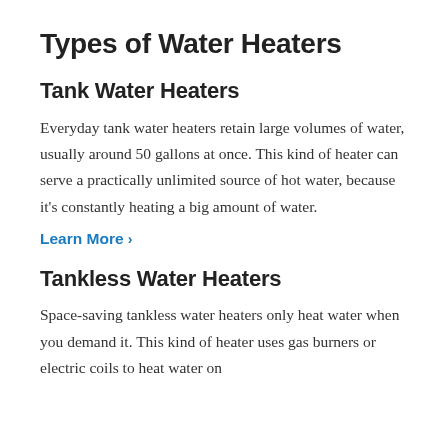Types of Water Heaters
Tank Water Heaters
Everyday tank water heaters retain large volumes of water, usually around 50 gallons at once. This kind of heater can serve a practically unlimited source of hot water, because it’s constantly heating a big amount of water.
Learn More ›
Tankless Water Heaters
Space-saving tankless water heaters only heat water when you demand it. This kind of heater uses gas burners or electric coils to heat water on